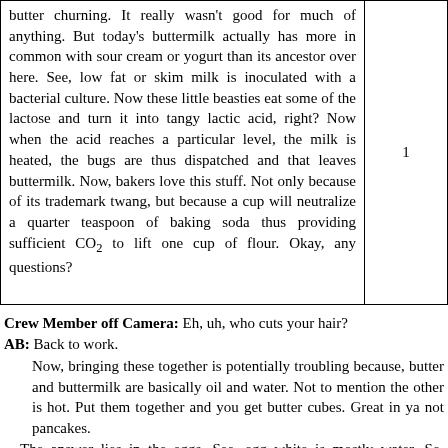butter churning. It really wasn't good for much of anything. But today's buttermilk actually has more in common with sour cream or yogurt than its ancestor over here. See, low fat or skim milk is inoculated with a bacterial culture. Now these little beasties eat some of the lactose and turn it into tangy lactic acid, right? Now when the acid reaches a particular level, the milk is heated, the bugs are thus dispatched and that leaves buttermilk. Now, bakers love this stuff. Not only because of its trademark twang, but because a cup will neutralize a quarter teaspoon of baking soda thus providing sufficient CO2 to lift one cup of flour. Okay, any questions?
1
Crew Member off Camera: Eh, uh, who cuts your hair? AB: Back to work.
Now, bringing these together is potentially troubling because, butter and buttermilk are basically oil and water. Not to mention the other is hot. Put them together and you get butter cubes. Great in ya not pancakes. The answer lies in the eggs. See, egg white is mostly water. So, buttermilk. Now, no big news there, right. But, since this egg yolk happily hooks up with both fats and water. Now, by mixing the butt the kind of like leading the butter and butter together, the